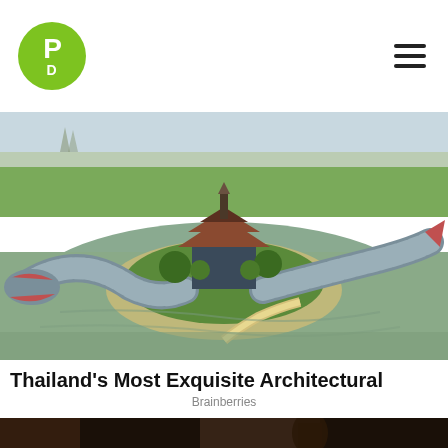PD logo and navigation
[Figure (photo): Aerial view of a Thai temple on an island surrounded by a lake, with a giant serpent/naga sculpture wrapping around the island and a walkway leading to it. Lush green trees and Thai architectural spires visible in background.]
Thailand's Most Exquisite Architectural Wonders
Brainberries
[Figure (photo): Partial view of a dark interior scene, partially cut off at bottom of page.]